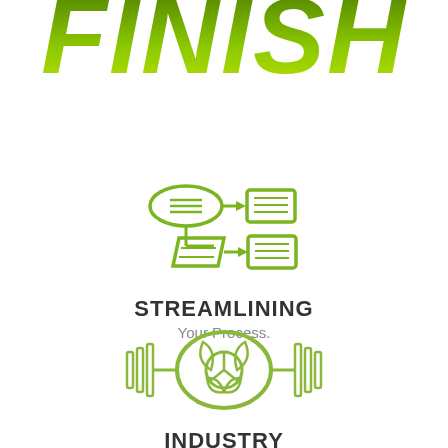FINISH
[Figure (illustration): Green flowchart/process icon showing two oval shapes with lines connected to rectangular document icons, depicting a streamlining workflow diagram]
STREAMLINING
Your Process.
[Figure (illustration): Green industrial/mechanical icon showing a circular turbine or roller mechanism with horizontal bars on each side, depicting an industry symbol]
INDUSTRY